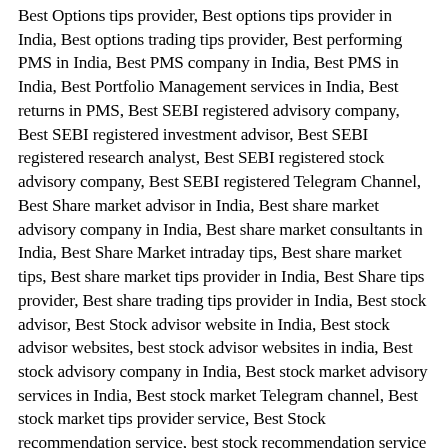Best Options tips provider, Best options tips provider in India, Best options trading tips provider, Best performing PMS in India, Best PMS company in India, Best PMS in India, Best Portfolio Management services in India, Best returns in PMS, Best SEBI registered advisory company, Best SEBI registered investment advisor, Best SEBI registered research analyst, Best SEBI registered stock advisory company, Best SEBI registered Telegram Channel, Best Share market advisor in India, Best share market advisory company in India, Best share market consultants in India, Best Share Market intraday tips, Best share market tips, Best share market tips provider in India, Best Share tips provider, Best share trading tips provider in India, Best stock advisor, Best Stock advisor website in India, Best stock advisor websites, best stock advisor websites in india, Best stock advisory company in India, Best stock market advisory services in India, Best stock market Telegram channel, Best stock market tips provider service, Best Stock recommendation service, best stock recommendation service in india, Best stock tips advisory company in India, Best stock tips company in India, Best stock tips provider, Best stock tips provider company in